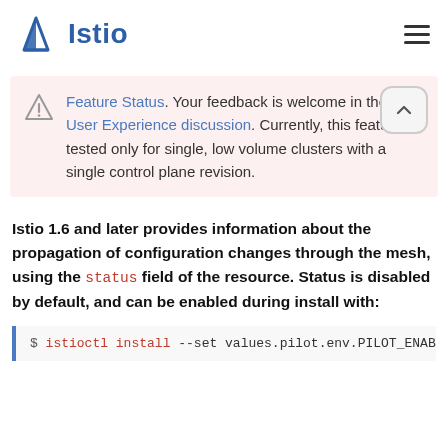Istio
Feature Status. Your feedback is welcome in the Istio User Experience discussion. Currently, this feature is tested only for single, low volume clusters with a single control plane revision.
Istio 1.6 and later provides information about the propagation of configuration changes through the mesh, using the status field of the resource. Status is disabled by default, and can be enabled during install with:
$ istioctl install --set values.pilot.env.PILOT_ENABLE_S